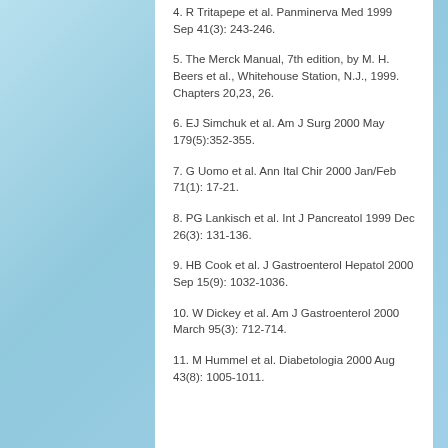4. R Tritapepe et al. Panminerva Med 1999 Sep 41(3): 243-246.
5. The Merck Manual, 7th edition, by M. H. Beers et al., Whitehouse Station, N.J., 1999. Chapters 20,23, 26.
6. EJ Simchuk et al. Am J Surg 2000 May 179(5):352-355.
7. G Uomo et al. Ann Ital Chir 2000 Jan/Feb 71(1): 17-21.
8. PG Lankisch et al. Int J Pancreatol 1999 Dec 26(3): 131-136.
9. HB Cook et al. J Gastroenterol Hepatol 2000 Sep 15(9): 1032-1036.
10. W Dickey et al. Am J Gastroenterol 2000 March 95(3): 712-714.
11. M Hummel et al. Diabetologia 2000 Aug 43(8): 1005-1011.